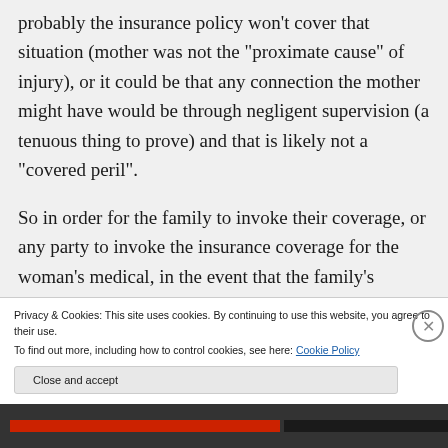probably the insurance policy won't cover that situation (mother was not the "proximate cause" of injury), or it could be that any connection the mother might have would be through negligent supervision (a tenuous thing to prove) and that is likely not a "covered peril". So in order for the family to invoke their coverage, or any party to invoke the insurance coverage for the woman's medical, in the event that the family's
Privacy & Cookies: This site uses cookies. By continuing to use this website, you agree to their use.
To find out more, including how to control cookies, see here: Cookie Policy